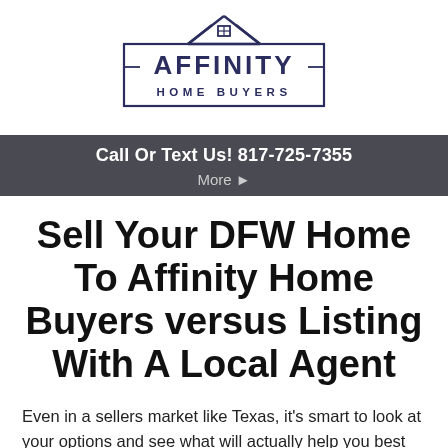[Figure (logo): Affinity Home Buyers logo with house icon above text in dark navy blue, inside a rectangular border]
Call Or Text Us! 817-725-7355
More ▸
Sell Your DFW Home To Affinity Home Buyers versus Listing With A Local Agent
Even in a sellers market like Texas, it's smart to look at your options and see what will actually help you best reach your goals with the sale of your house. While you